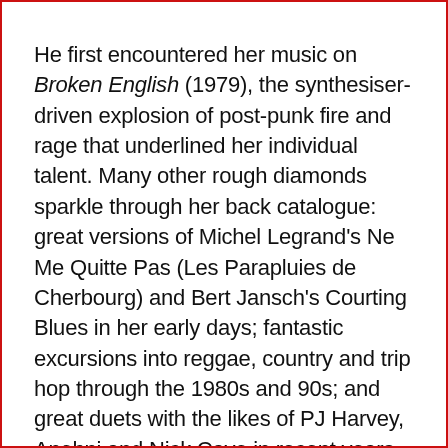He first encountered her music on Broken English (1979), the synthesiser-driven explosion of post-punk fire and rage that underlined her individual talent. Many other rough diamonds sparkle through her back catalogue: great versions of Michel Legrand's Ne Me Quitte Pas (Les Parapluies de Cherbourg) and Bert Jansch's Courting Blues in her early days; fantastic excursions into reggae, country and trip hop through the 1980s and 90s; and great duets with the likes of PJ Harvey, Anohni and Nick Cave in recent years. Her first single from the new record, The Gypsy Faerie Queen, is another duet with Cave…